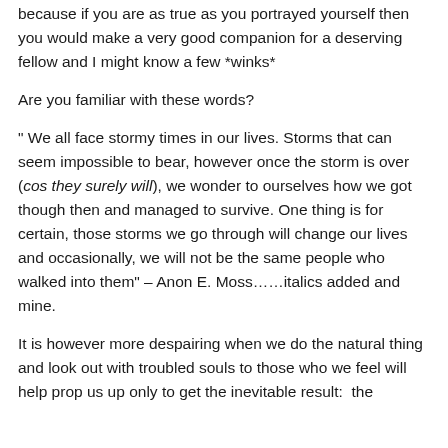because if you are as true as you portrayed yourself then you would make a very good companion for a deserving fellow and I might know a few *winks*
Are you familiar with these words?
" We all face stormy times in our lives. Storms that can seem impossible to bear, however once the storm is over (cos they surely will), we wonder to ourselves how we got though then and managed to survive. One thing is for certain, those storms we go through will change our lives and occasionally, we will not be the same people who walked into them" – Anon E. Moss……italics added and mine.
It is however more despairing when we do the natural thing and look out with troubled souls to those who we feel will help prop us up only to get the inevitable result: the